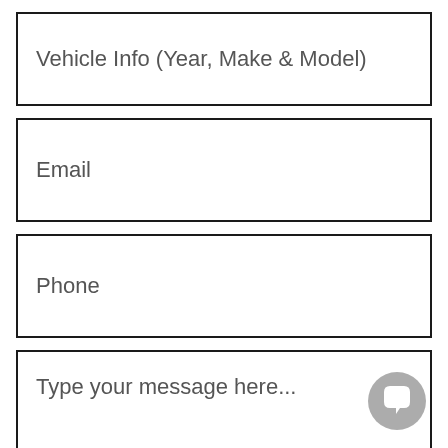Vehicle Info (Year, Make & Model)
Email
Phone
Type your message here...
Submit
[Figure (illustration): Chat bubble icon button in grey circle at bottom right corner]